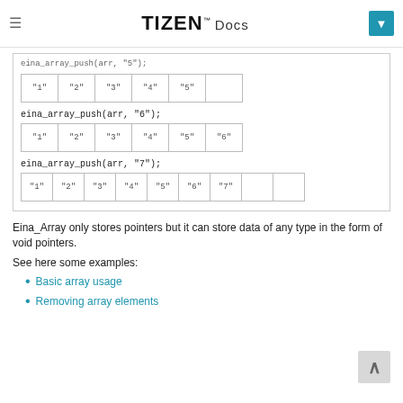TIZEN™ Docs
[Figure (illustration): Diagram showing eina_array_push operations: three array states after pushing elements '1'-'5', '1'-'6', and '1'-'7' with growing arrays]
Eina_Array only stores pointers but it can store data of any type in the form of void pointers.
See here some examples:
Basic array usage
Removing array elements